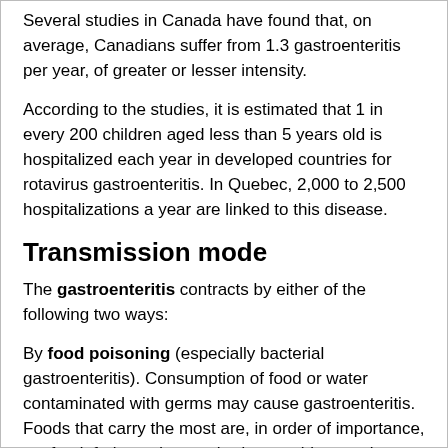Several studies in Canada have found that, on average, Canadians suffer from 1.3 gastroenteritis per year, of greater or lesser intensity.
According to the studies, it is estimated that 1 in every 200 children aged less than 5 years old is hospitalized each year in developed countries for rotavirus gastroenteritis. In Quebec, 2,000 to 2,500 hospitalizations a year are linked to this disease.
Transmission mode
The gastroenteritis contracts by either of the following two ways:
By food poisoning (especially bacterial gastroenteritis). Consumption of food or water contaminated with germs may cause gastroenteritis. Foods that carry the most are, in order of importance, seafood, fruits and unwashed vegetables, poultry, beef and eggs.